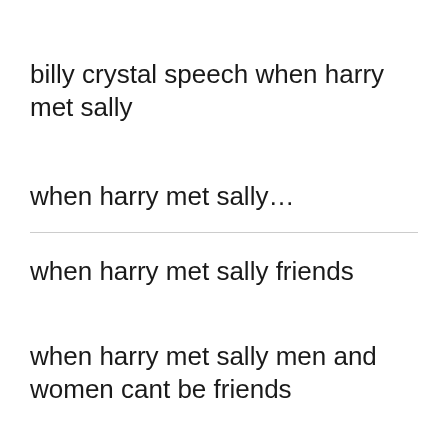billy crystal speech when harry met sally
when harry met sally…
when harry met sally friends
when harry met sally men and women cant be friends